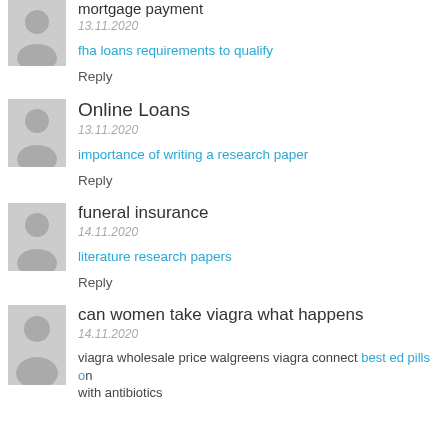mortgage payment
13.11.2020
fha loans requirements to qualify
Reply
Online Loans
13.11.2020
importance of writing a research paper
Reply
funeral insurance
14.11.2020
literature research papers
Reply
can women take viagra what happens
14.11.2020
viagra wholesale price walgreens viagra connect best ed pills on with antibiotics